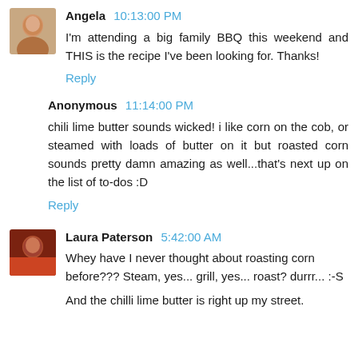Angela  10:13:00 PM
I'm attending a big family BBQ this weekend and THIS is the recipe I've been looking for. Thanks!
Reply
Anonymous  11:14:00 PM
chili lime butter sounds wicked! i like corn on the cob, or steamed with loads of butter on it but roasted corn sounds pretty damn amazing as well...that's next up on the list of to-dos :D
Reply
Laura Paterson  5:42:00 AM
Whey have I never thought about roasting corn before??? Steam, yes... grill, yes... roast? durrr... :-S

And the chilli lime butter is right up my street.